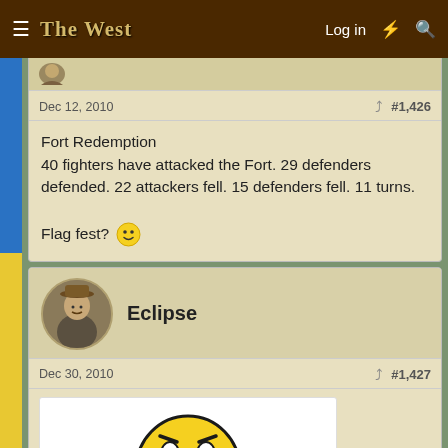The West — Log in
Dec 12, 2010
#1,426
Fort Redemption
40 fighters have attacked the Fort. 29 defenders defended. 22 attackers fell. 15 defenders fell. 11 turns.

Flag fest? 🙂
Eclipse
Dec 30, 2010
#1,427
[Figure (illustration): Large yellow sad/crying smiley face emoji with blue teardrop eyes and orange hands raised, on a white background]